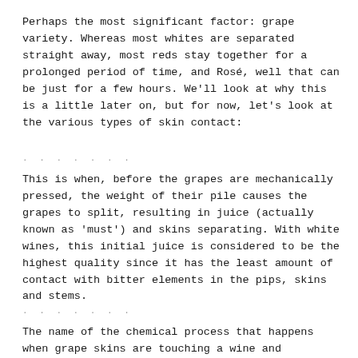Perhaps the most significant factor: grape variety. Whereas most whites are separated straight away, most reds stay together for a prolonged period of time, and Rosé, well that can be just for a few hours. We'll look at why this is a little later on, but for now, let's look at the various types of skin contact:
· · · · · · ·
This is when, before the grapes are mechanically pressed, the weight of their pile causes the grapes to split, resulting in juice (actually known as 'must') and skins separating. With white wines, this initial juice is considered to be the highest quality since it has the least amount of contact with bitter elements in the pips, skins and stems.
· · · · · · ·
The name of the chemical process that happens when grape skins are touching a wine and